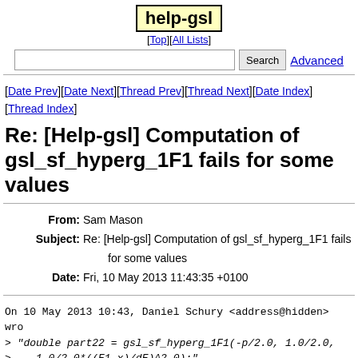help-gsl
[Top][All Lists]
[Date Prev][Date Next][Thread Prev][Thread Next][Date Index][Thread Index]
Re: [Help-gsl] Computation of gsl_sf_hyperg_1F1 fails for some values
From: Sam Mason
Subject: Re: [Help-gsl] Computation of gsl_sf_hyperg_1F1 fails for some values
Date: Fri, 10 May 2013 11:43:35 +0100
On 10 May 2013 10:43, Daniel Schury <address@hidden> wrote:
> "double part22 = gsl_sf_hyperg_1F1(-p/2.0, 1.0/2.0,
> - -1.0/2.0*((E1-x)/dE)^2.0);"

In this case; in C the ^ operator is a bitwise xor and do things to a power.